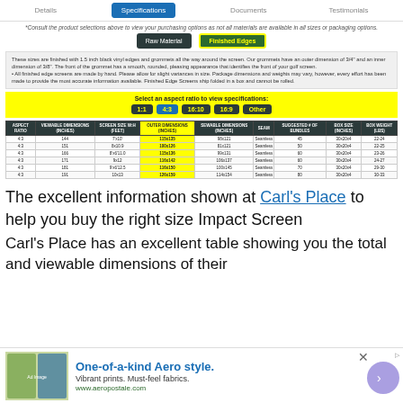Details | Specifications | Documents | Testimonials
*Consult the product selections above to view your purchasing options as not all materials are available in all sizes or packaging options.
Raw Material | Finished Edges
These sizes are finished with 1.5 inch black vinyl edges and grommets all the way around the screen. Our grommets have an outer dimension of 3/4" and an inner dimension of 3/8". The front of the grommet has a smooth, rounded, pleasing appearance that identifies the front of your golf screen. • All finished edge screens are made by hand. Please allow for slight variances in size. Package dimensions and weights may vary, however, every effort has been made to provide the most accurate information available. Finished Edge Screens ship folded in a box and cannot be rolled.
Select an aspect ratio to view specifications:
1:1 | 4:3 | 16:10 | 16:9 | Other
| ASPECT RATIO | VIEWABLE DIMENSIONS (INCHES) | SCREEN SIZE W:H (FEET) | OUTER DIMENSIONS (INCHES) | SEWABLE DIMENSIONS (INCHES) | SEAM | SUGGESTED # OF BUNDLES | BOX SIZE (INCHES) | BOX WEIGHT (LBS) |
| --- | --- | --- | --- | --- | --- | --- | --- | --- |
| 4:3 | 144 | 7'x10' | 115x135 | 98x121 | Seamless | 45 | 30x20x4 | 22-24 |
| 4:3 | 151 | 8'x10'9" | 100x126 | 81x121 | Seamless | 50 | 30x20x4 | 22-25 |
| 4:3 | 166 | 8'x6'11.0 | 115x136 | 99x131 | Seamless | 60 | 30x20x4 | 23-26 |
| 4:3 | 171 | 9x12 | 116x142 | 106x137 | Seamless | 60 | 30x20x4 | 24-27 |
| 4:3 | 181 | 9'x6'12.5 | 116x150 | 100x145 | Seamless | 70 | 30x20x4 | 29-30 |
| 4:3 | 191 | 10x13 | 126x159 | 114x154 | Seamless | 80 | 30x20x4 | 30-33 |
The excellent information shown at Carl's Place to help you buy the right size Impact Screen
Carl's Place has an excellent table showing you the total and viewable dimensions of their